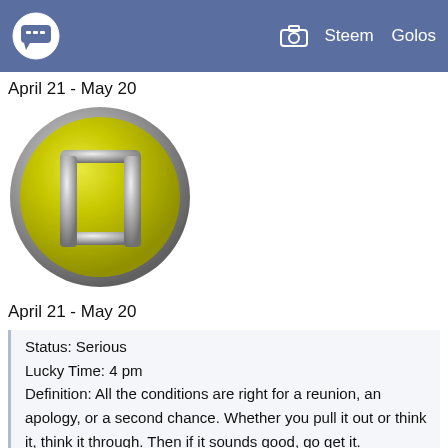Steem   Golos
April 21 - May 20
[Figure (illustration): Gemini zodiac symbol on a yellow metallic circle button with silver border and metallic Gemini glyph]
April 21 - May 20
Status: Serious
Lucky Time: 4 pm
Definition: All the conditions are right for a reunion, an apology, or a second chance. Whether you pull it out or think it, think it through. Then if it sounds good, go get it.
The Color of Luck: Copper
Symbol Compatibility: Capricorn
Lucky Number: 63